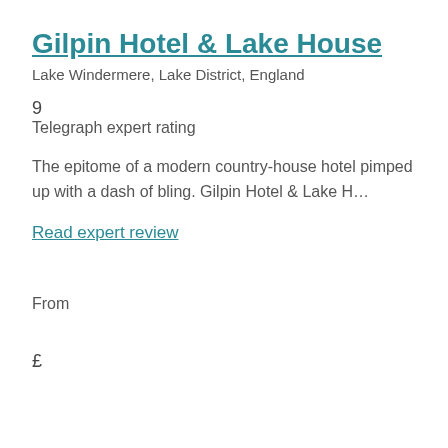Gilpin Hotel & Lake House
Lake Windermere, Lake District, England
9
Telegraph expert rating
The epitome of a modern country-house hotel pimped up with a dash of bling. Gilpin Hotel & Lake H…
Read expert review
From
£